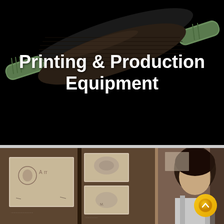[Figure (photo): Dark background with a rolling pin featuring green handles and a dark textured barrel, positioned diagonally across a black background. White bold text overlay reads 'Printing & Production Equipment'.]
Printing & Production Equipment
[Figure (photo): Sepia-toned vintage photograph showing a person standing next to a display board with multiple smaller photographs mounted on it. A gold/yellow circular navigation arrow button is visible in the lower right corner.]